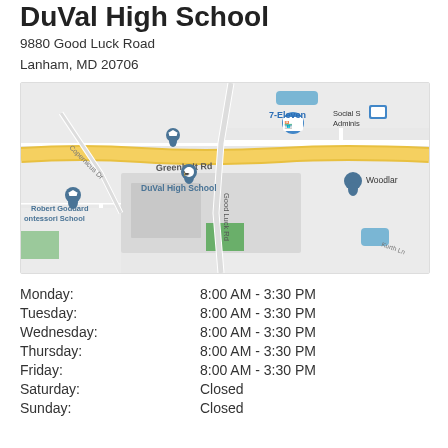DuVal High School
9880 Good Luck Road
Lanham, MD 20706
[Figure (map): Google Maps screenshot showing DuVal High School at 9880 Good Luck Road, Lanham MD. The map shows nearby landmarks including Robert Goddard Montessori School, 7-Eleven, Social Security Administration, and Woodland area. Major roads visible: Greenbelt Rd, Good Luck Rd, Copernicus Dr, Kurth Ln.]
| Day | Hours |
| --- | --- |
| Monday: | 8:00 AM - 3:30 PM |
| Tuesday: | 8:00 AM - 3:30 PM |
| Wednesday: | 8:00 AM - 3:30 PM |
| Thursday: | 8:00 AM - 3:30 PM |
| Friday: | 8:00 AM - 3:30 PM |
| Saturday: | Closed |
| Sunday: | Closed |